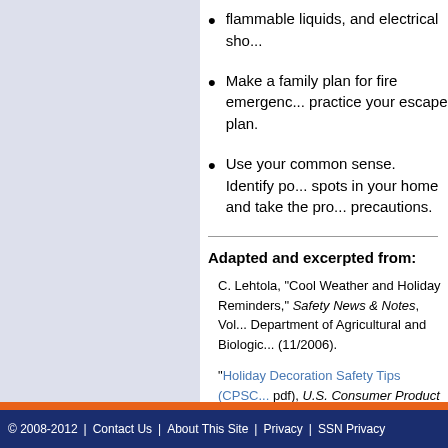flammable liquids, and electrical sho...
Make a family plan for fire emergency... practice your escape plan.
Use your common sense. Identify po... spots in your home and take the pro... precautions.
Adapted and excerpted from:
C. Lehtola, "Cool Weather and Holiday Reminders," Safety News & Notes, Vol... Department of Agricultural and Biologic... (11/2006).
"Holiday Decoration Safety Tips (CPSC... pdf), U.S. Consumer Product Safety Co... (Accessed 01/2015).
"Winter Fire Safety," U.S. Fire Administ... 12/2014).
© 2008-2012  |  Contact Us  |  About This Site  |  Privacy  |  SSN Privacy